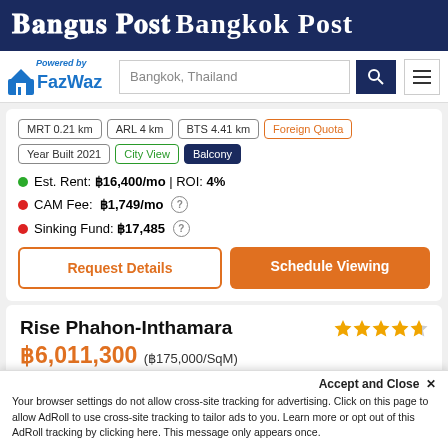Bangkok Post
[Figure (logo): FazWaz powered by logo with house icon and search bar showing Bangkok, Thailand]
MRT 0.21 km
ARL 4 km
BTS 4.41 km
Foreign Quota
Year Built 2021
City View
Balcony
Est. Rent: ฿16,400/mo | ROI: 4%
CAM Fee: ฿1,749/mo
Sinking Fund: ฿17,485
Request Details
Schedule Viewing
Rise Phahon-Inthamara
฿6,011,300 (฿175,000/SqM)
Sam Sen Nai, Phaya Thai, Bangkok
Accept and Close ✕
Your browser settings do not allow cross-site tracking for advertising. Click on this page to allow AdRoll to use cross-site tracking to tailor ads to you. Learn more or opt out of this AdRoll tracking by clicking here. This message only appears once.